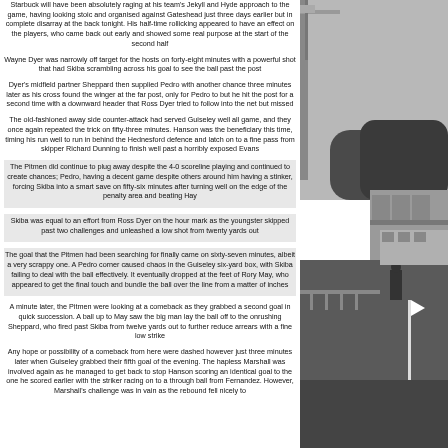Starbuck will have been absolutely raging at his team's Jekyll and Hyde approach to the game, having looking stoic and organised against Gateshead just three days earlier but in complete disarray at the back tonight. His half-time rollicking appeared to have an effect on the players, who came back out early and showed some real purpose at the start of the second half
Wayne Dyer was narrowly off target for the hosts on forty-eight minutes with a powerful shot that had Skiba scrambling across his goal to see the ball past the post
Dyer's midfield partner Sheppard then supplied Pedro with another chance three minutes later as his cross found the winger at the far post, only for Pedro to but he hit the post for a second time with a downward header that Ross Dyer tried to follow into the net but missed
The old-fashioned away side counter-attack had served Guiseley well all game, and they once again repeated the trick on fifty-three minutes. Hanson was the beneficiary this time, timing his run well to run in behind the Hednesford defence and latch on to a fine pass from skipper Richard Dunning to finish well past a horribly exposed Evans
The Pitmen did continue to plug away despite the 4-0 scoreline playing and continued to create chances; Pedro, having a decent game despite others around him having a stinker, forcing Skiba into a smart save on fifty-six minutes after turning well on the edge of the penalty area and beating Hay
Skiba was equal to an effort from Ross Dyer on the hour mark as the youngster skipped past two challenges and unleashed a low shot from twenty yards out
The goal that the Pitmen had been searching for finally came on sixty-seven minutes, albeit a very scrappy one. A Pedro corner caused chaos in the Guiseley six-yard box, with Skiba failing to deal with the ball effectively. It eventually dropped at the feet of Rory May, who appeared to get the final touch and bundle the ball over the line from a matter of inches
A minute later, the Pitmen were looking at a comeback as they grabbed a second goal in quick succession. A ball up to May saw the big man lay the ball off to the onrushing Sheppard, who fired past Skiba from twelve yards out to further reduce arrears with a fine low strike
Any hope or possibility of a comeback from here were dashed however just three minutes later when Guiseley grabbed their fifth goal of the evening. The hapless Marshall was involved again as he managed to get back to stop Hanson scoring an identical goal to the one he scored earlier with the striker racing on to a through ball from Fernandez. However, Marshall's challenge was in vain as the rebound fell nicely to
[Figure (photo): Outdoor football ground scene showing stadium structure, trees, and corner flag at dusk or evening]